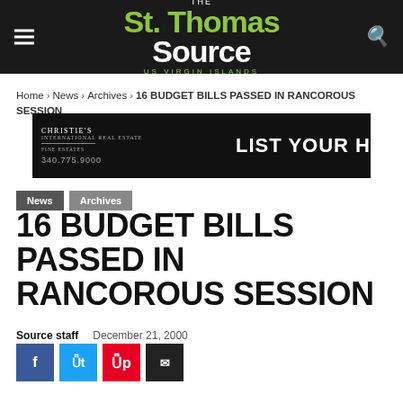The St. Thomas Source - US Virgin Islands
Home › News › Archives › 16 BUDGET BILLS PASSED IN RANCOROUS SESSION
[Figure (other): Christie's International Real Estate advertisement: LIST YOUR HOME, 340.775.9000, CONTACT US]
News  Archives
16 BUDGET BILLS PASSED IN RANCOROUS SESSION
Source staff   December 21, 2000
[Figure (other): Social sharing buttons: Facebook, Twitter, Pinterest, Email]